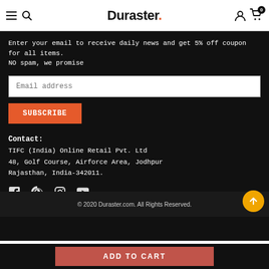Duraster.
Enter your email to receive daily news and get 5% off coupon for all items. NO spam, we promise
Email address
SUBSCRIBE
Contact:
TIFC (India) Online Retail Pvt. Ltd
48, Golf Course, Airforce Area, Jodhpur
Rajasthan, India-342011.
[Figure (illustration): Social media icons: Facebook, Pinterest, Instagram, YouTube]
© 2020 Duraster.com. All Rights Reserved.
ADD TO CART